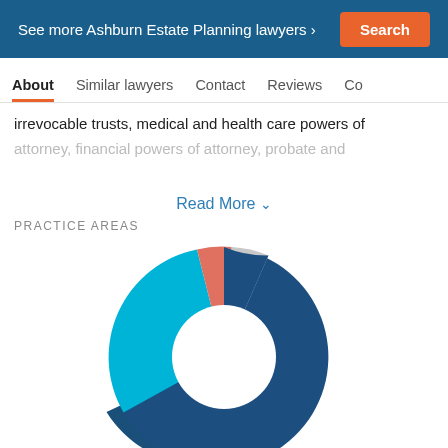See more Ashburn Estate Planning lawyers › Search
About  Similar lawyers  Contact  Reviews  Co
irrevocable trusts, medical and health care powers of attorney, financial powers of attorney, probate and
Read More ∨
PRACTICE AREAS
[Figure (donut-chart): Donut chart showing practice areas distribution with dark blue, teal/cyan, salmon/orange, and light gray segments]